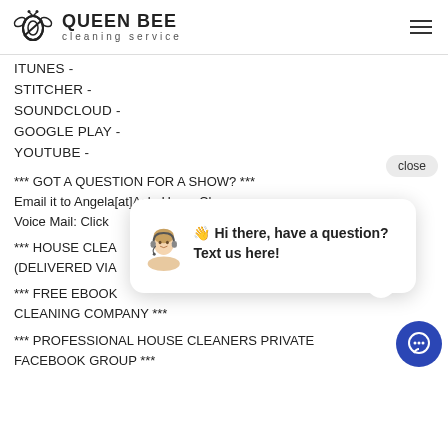Queen Bee Cleaning Service
ITUNES -
STITCHER -
SOUNDCLOUD -
GOOGLE PLAY -
YOUTUBE -
*** GOT A QUESTION FOR A SHOW? ***
Email it to Angela[at]AskaHouseCleaner.com
Voice Mail: Click
*** HOUSE CLEA...
(DELIVERED VIA...
*** FREE EBOOK ...
CLEANING COMPANY ***
*** PROFESSIONAL HOUSE CLEANERS PRIVATE FACEBOOK GROUP ***
[Figure (other): Chat popup overlay with avatar of woman with headset and text: Hi there, have a question? Text us here!]